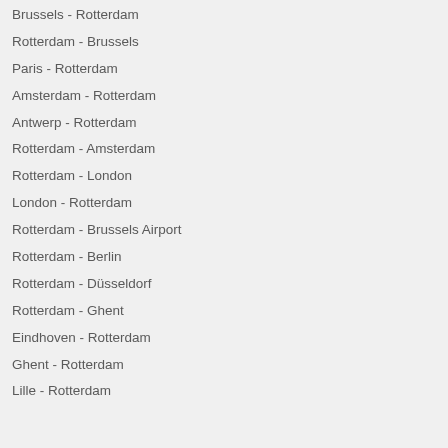Brussels - Rotterdam
Rotterdam - Brussels
Paris - Rotterdam
Amsterdam - Rotterdam
Antwerp - Rotterdam
Rotterdam - Amsterdam
Rotterdam - London
London - Rotterdam
Rotterdam - Brussels Airport
Rotterdam - Berlin
Rotterdam - Düsseldorf
Rotterdam - Ghent
Eindhoven - Rotterdam
Ghent - Rotterdam
Lille - Rotterdam